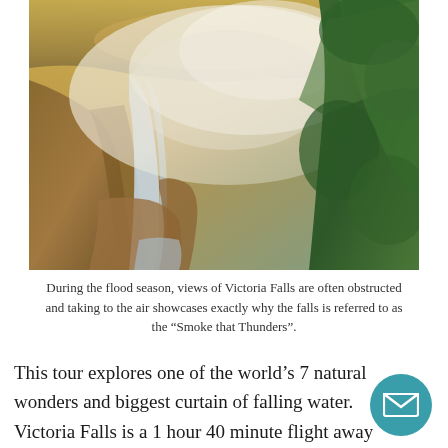[Figure (photo): Aerial photograph of Victoria Falls during flood season, showing large waterfall with heavy mist/spray rising above the falls, with lush green vegetation on the right and rocky terrain on the left, golden light reflecting on the water above.]
During the flood season, views of Victoria Falls are often obstructed and taking to the air showcases exactly why the falls is referred to as the “Smoke that Thunders”.
This tour explores one of the world’s 7 natural wonders and biggest curtain of falling water. Victoria Falls is a 1 hour 40 minute flight away from the city of Johannesburg and is a great add on to a tour of South Africa or a safari in